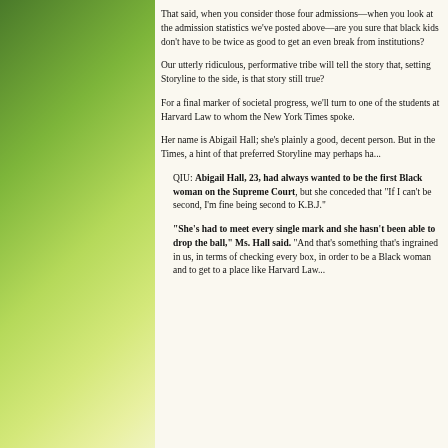That said, when you consider those four admissions—when you look at the admission statistics we've posted above—are you sure that black kids don't have to be twice as good to get an even break from institutions?
Our utterly ridiculous, performative tribe will tell the story that, setting Storyline to the side, is that story still true?
For a final marker of societal progress, we'll turn to one of the students at Harvard Law to whom the New York Times spoke.
Her name is Abigail Hall; she's plainly a good, decent person. But in the Times, a hint of that preferred Storyline may perhaps ha...
QIU: Abigail Hall, 23, had always wanted to be the first Black woman on the Supreme Court, but she conceded that "If I can't be second, I'm fine being second to K.B.J."
"She's had to meet every single mark and she hasn't been able to drop the ball," Ms. Hall said. "And that's something that's ingrained in us, in terms of checking every box, in order to be a Black woman and to get to a place like Harvard Law..."